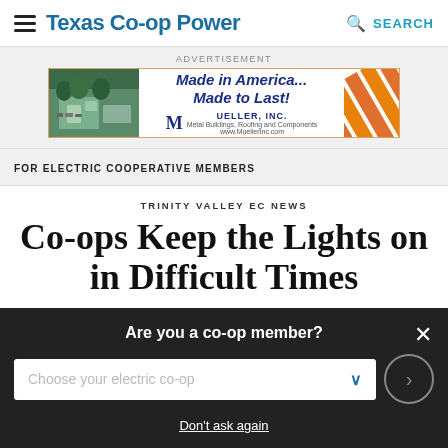Texas Co-op Power | SEARCH
[Figure (other): Advertisement banner for Mueller Inc: 'Made in America... Made to Last!' with building image and orange stripe logo]
FOR ELECTRIC COOPERATIVE MEMBERS
TRINITY VALLEY EC NEWS
Co-ops Keep the Lights on in Difficult Times
Are you a co-op member?
Choose your electric co-op
Don't ask again